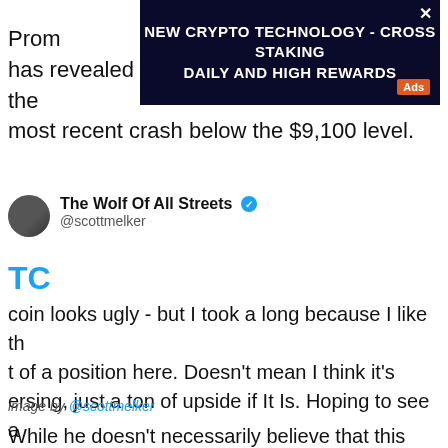[Figure (screenshot): Advertisement banner for crypto cross staking with dark background, text reads: NEW CRYPTO TECHNOLOGY - CROSS STAKING DAILY AND HIGH REWARDS, with Ads badge and close X button]
Prom...er has revealed that he's long on Bitcoin after the most recent crash below the $9,100 level.
The Wolf Of All Streets @scottmelker
TC
coin looks ugly - but I took a long because I like th t of a position here. Doesn't mean I think it's ersing, just a ton of upside if It Is. Hoping to see a se above the ascending wedge resistance and back the range - would make for an epic bullish SFP.
image by @scottmelker
While he doesn't necessarily believe that this quick